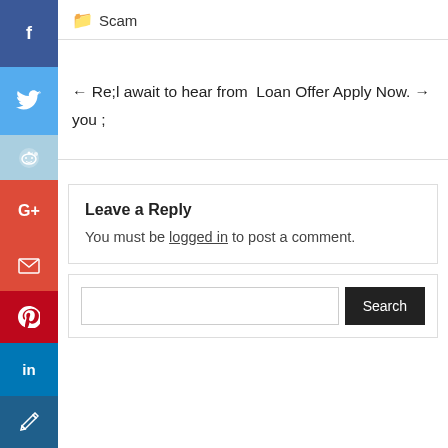Scam
← Re;I await to hear from  Loan Offer Apply Now. →
you ;
Leave a Reply
You must be logged in to post a comment.